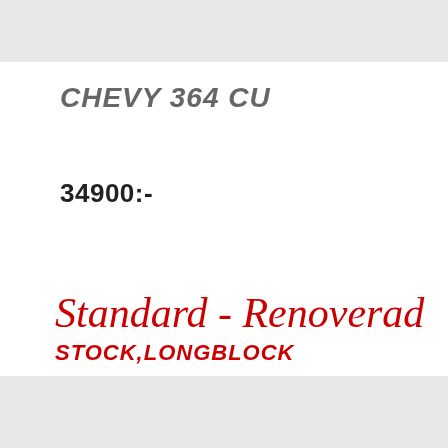CHEVY 364 CU
34900:-
Standard - Renoverad
STOCK,LONGBLOCK